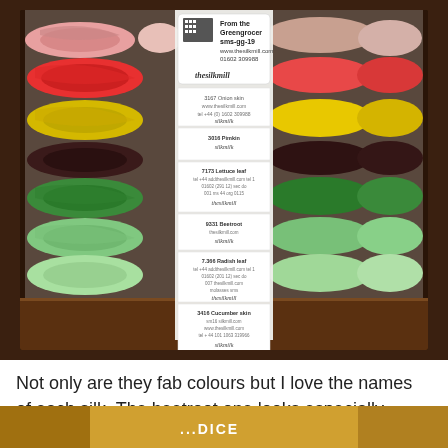[Figure (photo): A clear plastic bag containing multiple skeins of silk thread in various colors (pink, red, coral, yellow, green shades) from The Silk Mill. A white label strip runs vertically through the center of the bag showing individual color labels. The top card reads 'From the Greengrocer sms-gg-19 www.thesilkmill.com 01602 309988 thesilkmill'. Individual silk labels visible include: Onion skin, Pimkin (silkmilk), Lettuce leaf, Beetroot (silkmilk), Radish leaf, Cucumber skin, Priring cabbage.]
Not only are they fab colours but I love the names of each silk. The beetroot one looks especially yummy!
[Figure (photo): Partial bottom strip showing another photo with text overlay reading 'DICE' or similar.]